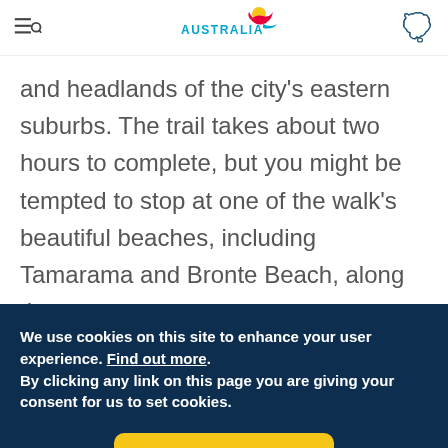[Figure (logo): Tourism Australia logo with stylized kangaroo/bird figure and the word AUSTRALIA]
and headlands of the city's eastern suburbs. The trail takes about two hours to complete, but you might be tempted to stop at one of the walk's beautiful beaches, including Tamarama and Bronte Beach, along the way.
We use cookies on this site to enhance your user experience. Find out more.
By clicking any link on this page you are giving your consent for us to set cookies.
Ok, I agree